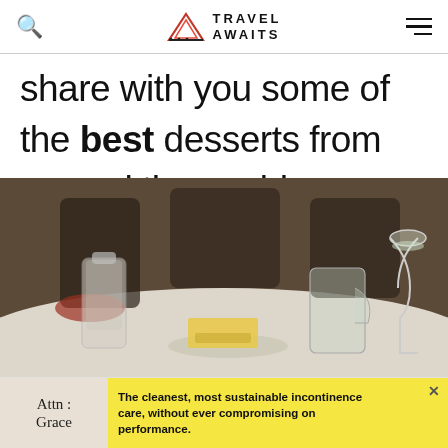Travel Awaits
share with you some of the best desserts from around the world we have discovered in our culinary journeys.
[Figure (photo): Restaurant table scene with a glass sugar shaker, a pat of butter on a dish, a glass water pitcher, and a wine glass on a marble table in a restaurant setting.]
[Figure (other): Advertisement banner: Attn: Grace - The cleanest, most sustainable incontinence care, without ever compromising on performance.]